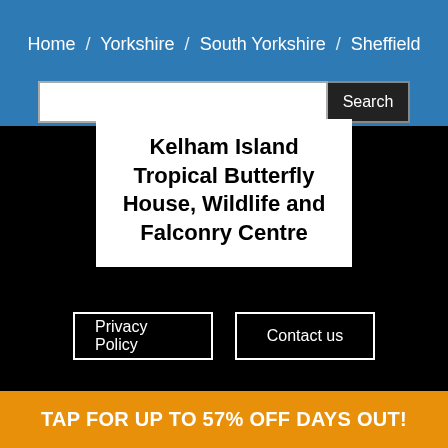Home / Yorkshire / South Yorkshire / Sheffield
[Figure (screenshot): Search input box and Search button]
Get even more with utplus.net! Telephone: sor House, Windsor A16 6JB © Digital Company No. 976
Kelham Island Tropical Butterfly House, Wildlife and Falconry Centre
Privacy Policy
Contact us
TAP FOR UP TO 57% OFF DAYS OUT!